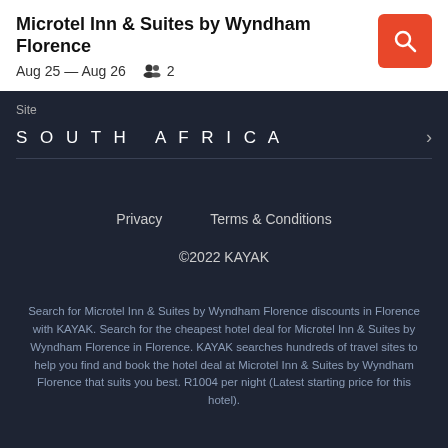Microtel Inn & Suites by Wyndham Florence
Aug 25 — Aug 26   2
Site
SOUTH AFRICA
Privacy   Terms & Conditions
©2022 KAYAK
Search for Microtel Inn & Suites by Wyndham Florence discounts in Florence with KAYAK. Search for the cheapest hotel deal for Microtel Inn & Suites by Wyndham Florence in Florence. KAYAK searches hundreds of travel sites to help you find and book the hotel deal at Microtel Inn & Suites by Wyndham Florence that suits you best. R1004 per night (Latest starting price for this hotel).